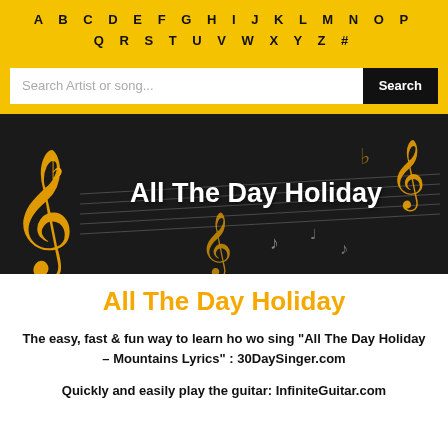A B C D E F G H I J K L M N O P Q R S T U V W X Y Z #
[Figure (screenshot): Search bar with placeholder 'Search Artist or song...' and black Search button]
[Figure (illustration): Dark banner with golden music notes and treble clef decorations, white bold text 'All The Day Holiday']
All The Day Holiday
The easy, fast & fun way to learn ho wo sing "All The Day Holiday – Mountains Lyrics" : 30DaySinger.com
Quickly and easily play the guitar: InfiniteGuitar.com